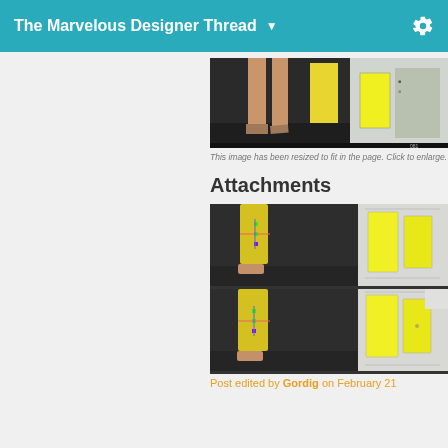The Marvelous Designer Thread ▼
[Figure (screenshot): Screenshot of Marvelous Designer software showing character legs with yellow garment on left panel and pattern pieces on right panel]
This image has been resized to fit in the page. Click to enlarge.
Attachments
[Figure (screenshot): Marvelous Designer screenshot showing 3D view of yellow pants on character legs with simulation controls on left, and 2D pattern panel on right]
[Figure (screenshot): Second Marvelous Designer screenshot similar to above, showing 3D view of yellow pants simulation on left and 2D pattern pieces on right]
Post edited by Gordig on February 21